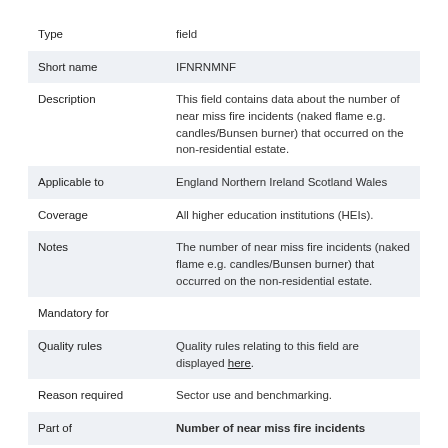| Field | Value |
| --- | --- |
| Type | field |
| Short name | IFNRNMNF |
| Description | This field contains data about the number of near miss fire incidents (naked flame e.g. candles/Bunsen burner) that occurred on the non-residential estate. |
| Applicable to | England Northern Ireland Scotland Wales |
| Coverage | All higher education institutions (HEIs). |
| Notes | The number of near miss fire incidents (naked flame e.g. candles/Bunsen burner) that occurred on the non-residential estate. |
| Mandatory for |  |
| Quality rules | Quality rules relating to this field are displayed here. |
| Reason required | Sector use and benchmarking. |
| Part of | Number of near miss fire incidents |